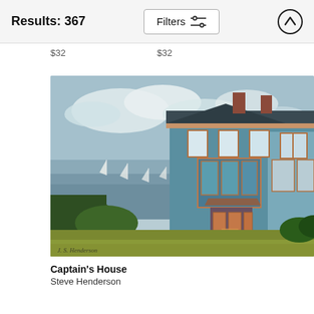Results: 367   Filters
$32   $32
[Figure (illustration): Oil painting of a Victorian house (Captain's House) with teal/blue exterior, multiple windows with decorative trim, two brick chimneys, a green boat in the foreground, lush trees and foliage, and a harbor with sailboats visible in the background under a partly cloudy sky. Artist signature reads 'J. S. Henderson' at bottom left.]
Captain's House
Steve Henderson